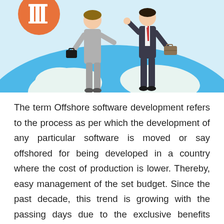[Figure (illustration): Infographic illustration showing two business people standing on a globe/world map background with a light blue sky. One figure on the left wears a grey outfit and carries a briefcase; one figure on the right wears a dark suit and carries a briefcase. An orange circle/logo is visible in the upper left corner.]
The term Offshore software development refers to the process as per which the development of any particular software is moved or say offshored for being developed in a country where the cost of production is lower. Thereby, easy management of the set budget. Since the past decade, this trend is growing with the passing days due to the exclusive benefits these offers. These include; bringing improvement in the productivity, lowering the cost, having a software